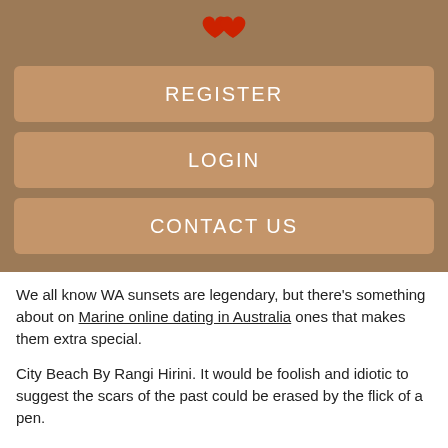[Figure (logo): Red heart/dating app logo icon]
REGISTER
LOGIN
CONTACT US
We all know WA sunsets are legendary, but there's something about on Marine online dating in Australia ones that makes them extra special.
City Beach By Rangi Hirini. It would be foolish and idiotic to suggest the scars of the past could be erased by the flick of a pen.
Post to Cancel. Malaysia Standard Time. Earlier this year the City of Fremantle councillors voted to scrap the port town's popular Australia Day fireworks event from after deeming the celebration